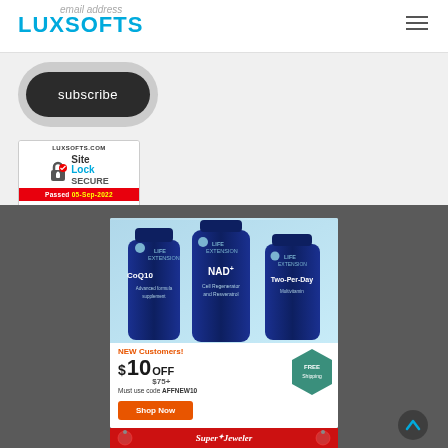LUXSOFTS
email address
[Figure (screenshot): Subscribe button with pill-shaped gray background and dark rounded button labeled 'subscribe']
[Figure (logo): SiteLock SECURE badge — LUXSOFTS.COM, lock icon, SiteLock SECURE text, Passed 05-Sep-2022 in red bar]
[Figure (photo): Life Extension supplement bottles (CoQ10, NAD+, Two-Per-Day) advertisement. NEW Customers! $10 OFF $75+. Must use code AFFNEW10. FREE Shipping badge. Shop Now button.]
[Figure (logo): SuperJeweler banner in red at the bottom]